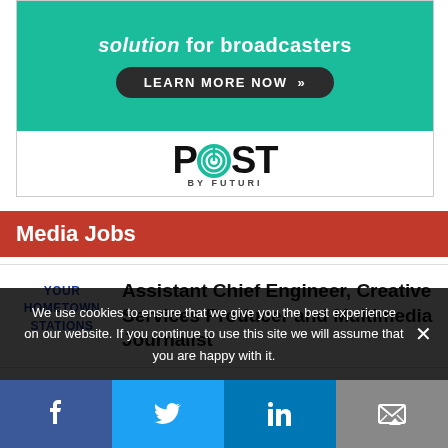[Figure (screenshot): POST by Futuri advertisement banner with green background, 'solution for broadcasters' text, 'LEARN MORE NOW >>' dark button, and POST by Futuri logo]
Media Jobs
[Figure (logo): Your Hometown Stations logo in blue text]
Assistant Chief Engineer, Creative Services Producer and Multimedia Journalist
We use cookies to ensure that we give you the best experience on our website. If you continue to use this site we will assume that you are happy with it.
[Figure (infographic): Social sharing bar with Facebook, Twitter, LinkedIn, and email icons]